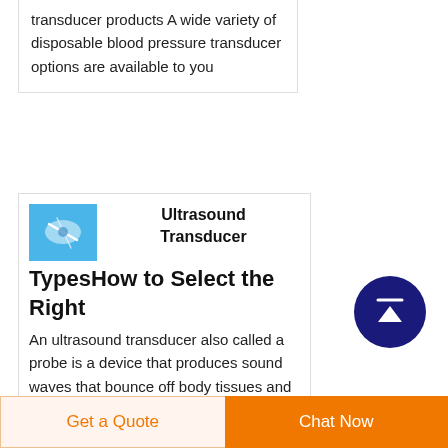transducer products A wide variety of disposable blood pressure transducer options are available to you
[Figure (photo): Small product thumbnail showing a medical ultrasound probe/transducer on a blue background]
Ultrasound Transducer TypesHow to Select the Right
An ultrasound transducer also called a probe is a device that produces sound waves that bounce off body tissues and make echoes The transducer also receives the echoes and
[Figure (other): Dark navy blue circular scroll-to-top button with white upward arrow]
Get a Quote
Chat Now